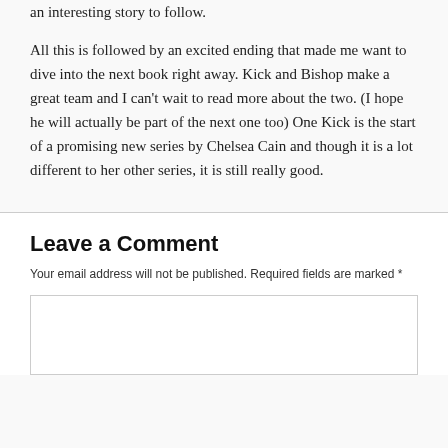an interesting story to follow.
All this is followed by an excited ending that made me want to dive into the next book right away. Kick and Bishop make a great team and I can't wait to read more about the two. (I hope he will actually be part of the next one too) One Kick is the start of a promising new series by Chelsea Cain and though it is a lot different to her other series, it is still really good.
Leave a Comment
Your email address will not be published. Required fields are marked *